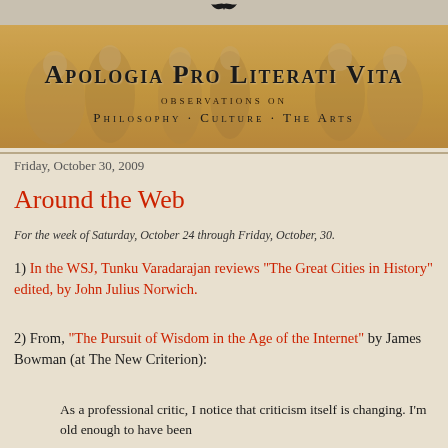APOLOGIA PRO LITERATI VITA
OBSERVATIONS ON
PHILOSOPHY - CULTURE - THE ARTS
Friday, October 30, 2009
Around the Web
For the week of Saturday, October 24 through Friday, October, 30.
1) In the WSJ, Tunku Varadarajan reviews "The Great Cities in History" edited, by John Julius Norwich.
2) From, "The Pursuit of Wisdom in the Age of the Internet" by James Bowman (at The New Criterion):
As a professional critic, I notice that criticism itself is changing. I'm old enough to have been